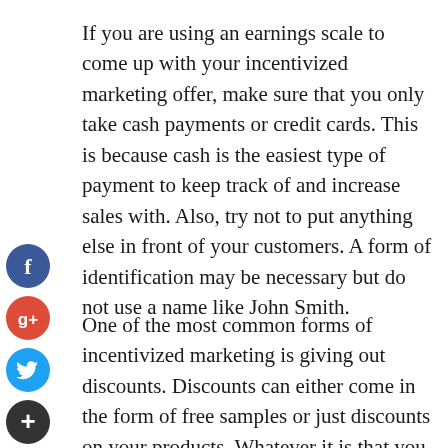If you are using an earnings scale to come up with your incentivized marketing offer, make sure that you only take cash payments or credit cards. This is because cash is the easiest type of payment to keep track of and increase sales with. Also, try not to put anything else in front of your customers. A form of identification may be necessary but do not use a name like John Smith.
[Figure (other): Social media share icons: Facebook (blue circle with 'f'), Google+ (red circle with 'g+'), Twitter (blue circle with bird), and Add/More (dark circle with '+')]
One of the most common forms of incentivized marketing is giving out discounts. Discounts can either come in the form of free samples or just discounts on your products. Whatever it is that you are giving out, it should be something that your customer would actually use. For